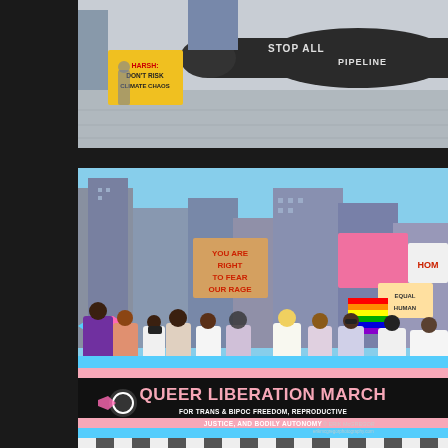[Figure (photo): Top photo: A protest scene showing a large black inflatable pipeline prop with text 'STOP ALL PIPELINE' visible. Signs in background including one reading 'HARSH DON'T RISK CLIMATE CHAOS'. Urban plaza setting with pavement visible.]
[Figure (photo): Bottom photo: Queer Liberation March in an urban city setting with tall buildings. Crowd of people holding signs including 'YOU ARE RIGHT TO FEAR OUR RAGE', pink signs, rainbow flags. A large banner reads 'QUEER LIBERATION MARCH FOR TRANS & BIPOC FREEDOM, REPRODUCTIVE JUSTICE, AND BODILY AUTONOMY'. Photographer credit: © ERIK MCGREGOR / erikmcgregorphotography.com. Trans pride flag colors (pink, white, blue) on the banner. Checker-patterned crosswalk in foreground.]